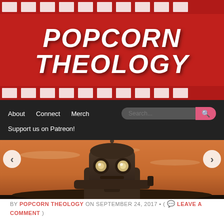[Figure (logo): Popcorn Theology website banner with red background, film strip borders top and bottom, and white bold italic text reading POPCORN THEOLOGY]
About   Connect   Merch   Support us on Patreon!
[Figure (photo): The Iron Giant animated movie character - a large robot with glowing eyes against an orange sunset sky]
BY POPCORN THEOLOGY ON SEPTEMBER 24, 2017 • ( LEAVE A COMMENT )